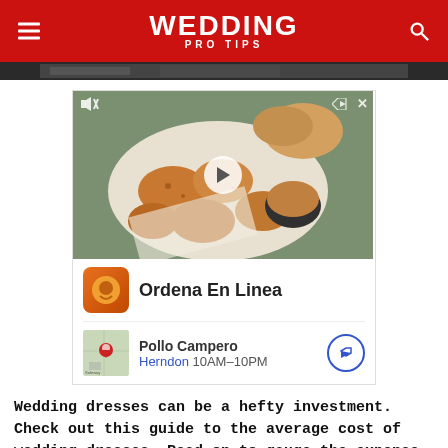WEDDING PRO TIPS
[Figure (photo): Partial image strip visible at top — dark background, appears to be a wedding-related scene]
[Figure (other): Advertisement: Video thumbnail of fried chicken nuggets with dipping sauce and bread roll. Ad for Pollo Campero — Ordena En Linea. Location: Herndon 10AM-10PM]
Wedding dresses can be a hefty investment. Check out this guide to the average cost of wedding dresses. Read on to gauge the expense.
[Figure (other): Advertisement: Dyson — Tysons Corner OPEN 10AM-9PM 1961 Chain Bridge Rd, Unit HOO2AU, Ty.]